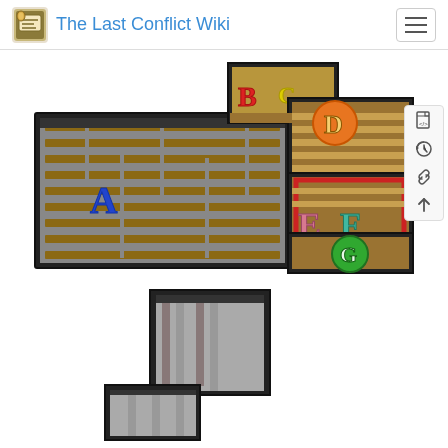The Last Conflict Wiki
[Figure (map): Top-down pixel art game map showing dungeon/maze areas labeled with letters A (blue), B (red), C (yellow), D (orange), E (pink), F (teal), G (green). The map has multiple connected rooms with brown tile floors, gray corridors, and black borders. A red-bordered room contains E and F markers. Lower room contains G marker. Left section is a large maze area with A marker.]
[Figure (map): Second partial map image at bottom showing a dark dungeon corridor/room with gray striped floor tiles, partial black walls, and a corner section visible. This appears to be a continuation or different section of the same game map.]